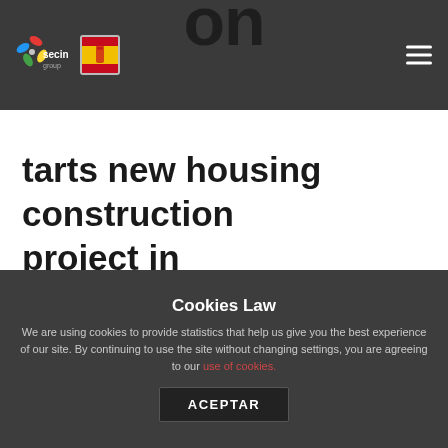on
[Figure (logo): Secin group logo with colorful asterisk icon and Spanish flag badge, plus hamburger menu icon on the right]
tarts new housing construction project in Madrid
Cookies Law
We are using cookies to provide statistics that help us give you the best experience of our site. By continuing to use the site without changing settings, you are agreeing to our use of cookies.
ACEPTAR